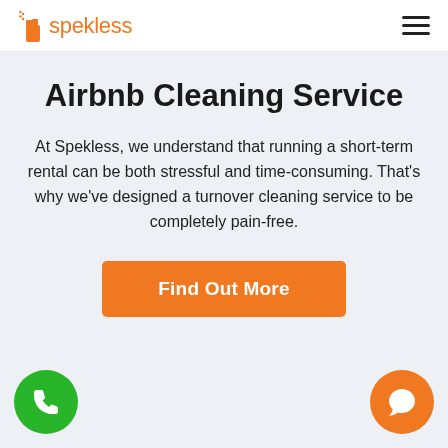spekless — navigation header with hamburger menu
Airbnb Cleaning Service
At Spekless, we understand that running a short-term rental can be both stressful and time-consuming. That's why we've designed a turnover cleaning service to be completely pain-free.
[Figure (other): Orange 'Find Out More' call-to-action button]
[Figure (other): Green phone icon floating button (bottom left)]
[Figure (other): Orange chat icon floating button (bottom right)]